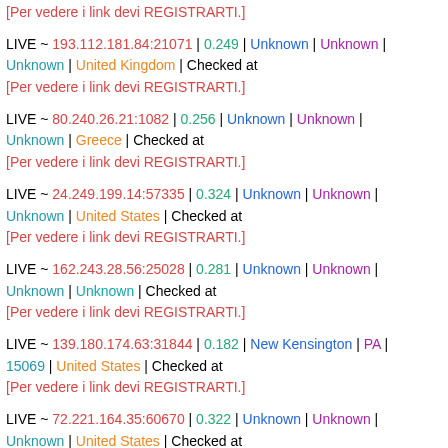[Per vedere i link devi REGISTRARTI.]
LIVE ~ 193.112.181.84:21071 | 0.249 | Unknown | Unknown | Unknown | United Kingdom | Checked at [Per vedere i link devi REGISTRARTI.]
LIVE ~ 80.240.26.21:1082 | 0.256 | Unknown | Unknown | Unknown | Greece | Checked at [Per vedere i link devi REGISTRARTI.]
LIVE ~ 24.249.199.14:57335 | 0.324 | Unknown | Unknown | Unknown | United States | Checked at [Per vedere i link devi REGISTRARTI.]
LIVE ~ 162.243.28.56:25028 | 0.281 | Unknown | Unknown | Unknown | Unknown | Checked at [Per vedere i link devi REGISTRARTI.]
LIVE ~ 139.180.174.63:31844 | 0.182 | New Kensington | PA | 15069 | United States | Checked at [Per vedere i link devi REGISTRARTI.]
LIVE ~ 72.221.164.35:60670 | 0.322 | Unknown | Unknown | Unknown | United States | Checked at [Per vedere i link devi REGISTRARTI.]
LIVE ~ 82.165.137.115:7061 | 0.308 | Unknown | Unknown |